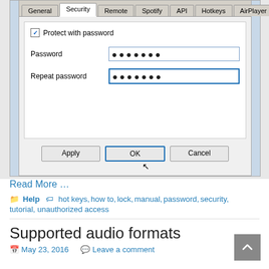[Figure (screenshot): Windows dialog box showing Security settings tab with 'Protect with password' checkbox checked, Password and Repeat password fields filled with dots, and Apply/OK/Cancel buttons at the bottom. OK button has focus and cursor is hovering over it.]
Read More …
Help   hot keys, how to, lock, manual, password, security, tutorial, unauthorized access
Supported audio formats
May 23, 2016   Leave a comment